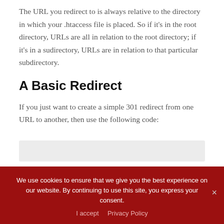The URL you redirect to is always relative to the directory in which your .htaccess file is placed. So if it's in the root directory, URLs are all in relation to the root directory; if it's in a sudirectory, URLs are in relation to that particular subdirectory.
A Basic Redirect
If you just want to create a simple 301 redirect from one URL to another, then use the following code:
[Figure (other): Gray code box placeholder area]
We use cookies to ensure that we give you the best experience on our website. By continuing to use this site, you express your consent.
I accept   Privacy Policy